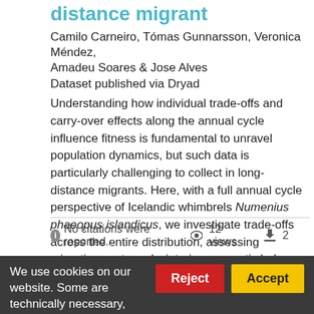distance migrant
Camilo Carneiro, Tómas Gunnarsson, Veronica Méndez, Amadeu Soares & Jose Alves
Dataset published via Dryad
Understanding how individual trade-offs and carry-over effects along the annual cycle influence fitness is fundamental to unravel population dynamics, but such data is particularly challenging to collect in long-distance migrants. Here, with a full annual cycle perspective of Icelandic whimbrels Numenius phaeopus islandicus, we investigate trade-offs across the entire distribution, assessing migration costs and wintering energetic balance experienced throughout the wintering range (from temperate to tropical regions), and link these to breeding parameters for two...
No citations were reported.  12 views  2
We use cookies on our website. Some are technically necessary, others
Reject
Accept